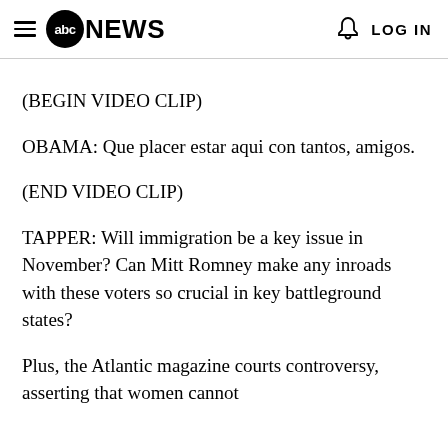abc NEWS   LOG IN
(BEGIN VIDEO CLIP)
OBAMA: Que placer estar aqui con tantos, amigos.
(END VIDEO CLIP)
TAPPER: Will immigration be a key issue in November? Can Mitt Romney make any inroads with these voters so crucial in key battleground states?
Plus, the Atlantic magazine courts controversy, asserting that women cannot